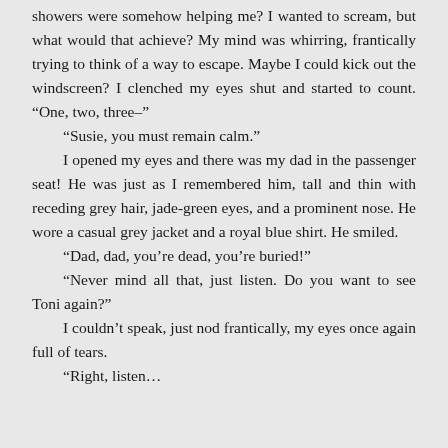showers were somehow helping me? I wanted to scream, but what would that achieve? My mind was whirring, frantically trying to think of a way to escape. Maybe I could kick out the windscreen? I clenched my eyes shut and started to count. “One, two, three–”
“Susie, you must remain calm.”

I opened my eyes and there was my dad in the passenger seat! He was just as I remembered him, tall and thin with receding grey hair, jade-green eyes, and a prominent nose. He wore a casual grey jacket and a royal blue shirt. He smiled.
“Dad, dad, you’re dead, you’re buried!”
“Never mind all that, just listen. Do you want to see Toni again?”

I couldn’t speak, just nod frantically, my eyes once again full of tears.
“Right, listen…